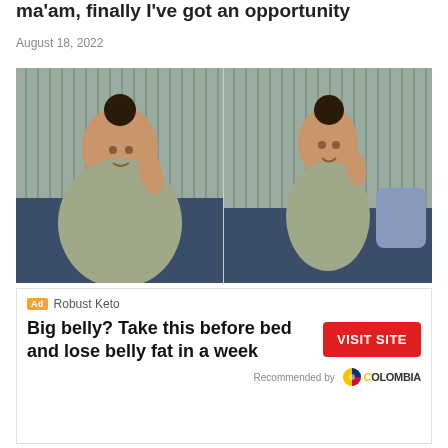ma'am, finally I've got an opportunity
August 18, 2022
[Figure (photo): Before and after weight loss comparison photo: two images of the same woman seated on a sofa wearing a grey patterned outfit. Left image shows her with a fuller figure; right image shows her slimmer.]
Ad  Robust Keto
Big belly? Take this before bed and lose belly fat in a week
VISIT SITE
Recommended by COLOMBIA